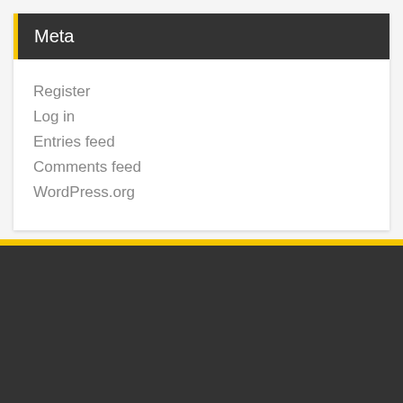Meta
Register
Log in
Entries feed
Comments feed
WordPress.org